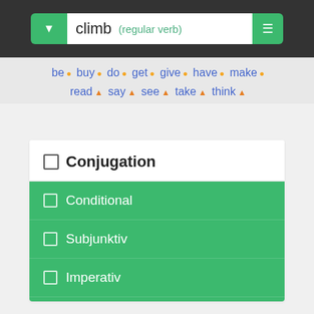climb (regular verb)
be • buy • do • get • give • have • make • read • say • see • take • think
☐ Conjugation
☐ Conditional
☐ Subjunktiv
☐ Imperativ
☐ Participle
☐ Phrasal verbs